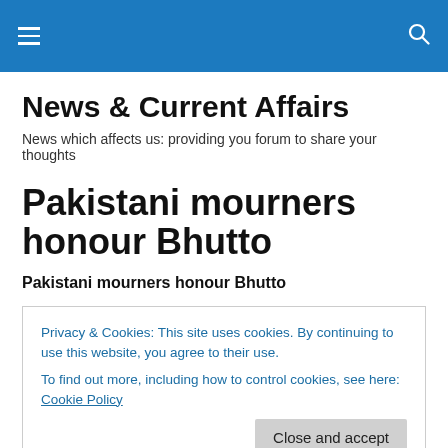News & Current Affairs [header bar with menu and search icons]
News & Current Affairs
News which affects us: providing you forum to share your thoughts
Pakistani mourners honour Bhutto
Pakistani mourners honour Bhutto
Privacy & Cookies: This site uses cookies. By continuing to use this website, you agree to their use.
To find out more, including how to control cookies, see here: Cookie Policy
President Asif Ali Zardar, her widower, used the occasion